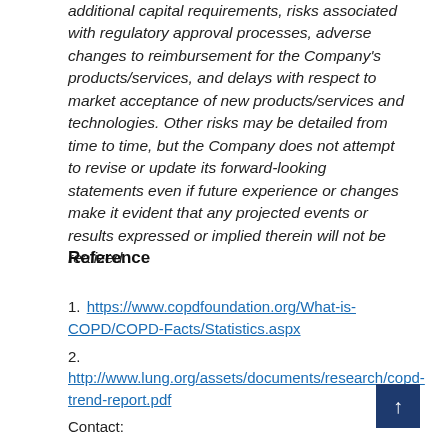additional capital requirements, risks associated with regulatory approval processes, adverse changes to reimbursement for the Company's products/services, and delays with respect to market acceptance of new products/services and technologies. Other risks may be detailed from time to time, but the Company does not attempt to revise or update its forward-looking statements even if future experience or changes make it evident that any projected events or results expressed or implied therein will not be realized.
Reference
1. https://www.copdfoundation.org/What-is-COPD/COPD-Facts/Statistics.aspx
2. http://www.lung.org/assets/documents/research/copd-trend-report.pdf
Contact: